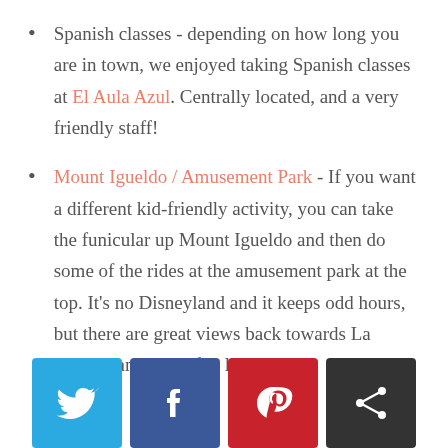Spanish classes - depending on how long you are in town, we enjoyed taking Spanish classes at El Aula Azul. Centrally located, and a very friendly staff!
Mount Igueldo / Amusement Park - If you want a different kid-friendly activity, you can take the funicular up Mount Igueldo and then do some of the rides at the amusement park at the top. It's no Disneyland and it keeps odd hours, but there are great views back towards La Concha and it is a fun little
[Figure (infographic): Social sharing buttons: Twitter (blue), Facebook (dark blue), Pinterest (red), Share (dark gray)]